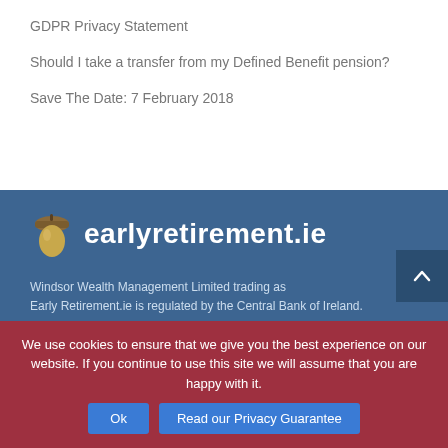GDPR Privacy Statement
Should I take a transfer from my Defined Benefit pension?
Save The Date: 7 February 2018
[Figure (logo): Acorn icon logo followed by earlyretirement.ie text]
Windsor Wealth Management Limited trading as Early Retirement.ie is regulated by the Central Bank of Ireland.
29 Windsor Place, Dublin 2, Ireland
+353 1 6815290
hello@earlvretirement.ie
We use cookies to ensure that we give you the best experience on our website. If you continue to use this site we will assume that you are happy with it.